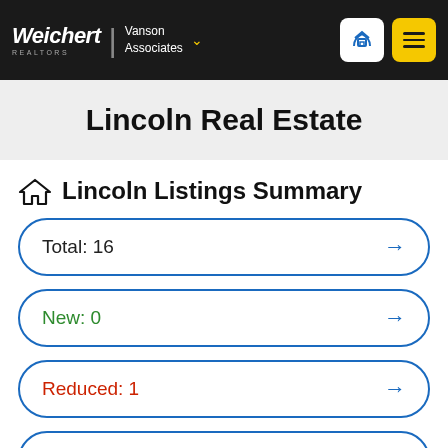Weichert | Vanson Associates
Lincoln Real Estate
Lincoln Listings Summary
Total: 16
New: 0
Reduced: 1
Open House: 0